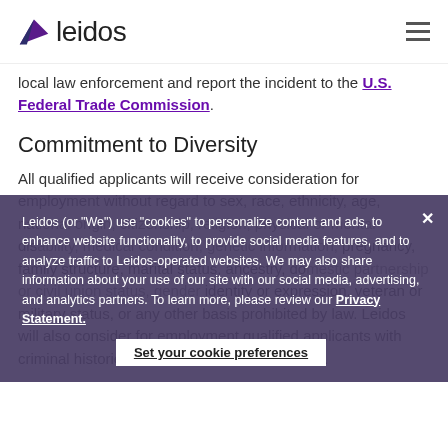leidos
local law enforcement and report the incident to the U.S. Federal Trade Commission.
Commitment to Diversity
All qualified applicants will receive consideration for employment without regard to sex, race, ethnicity, age, national origin, citizenship, religion, physical or mental disability, medical condition, genetic information, pregnancy, family structure, marital status, ancestry, domestic partnership or civil union status, gender identity or expression, veteran or military status, or any other basis prohibited by law. Leidos will also consider for employment qualified applicants with criminal histories consistent with relevant laws.
Leidos (or "We") use "cookies" to personalize content and ads, to enhance website functionality, to provide social media features, and to analyze traffic to Leidos-operated websites. We may also share information about your use of our site with our social media, advertising, and analytics partners. To learn more, please review our Privacy Statement.
Set your cookie preferences